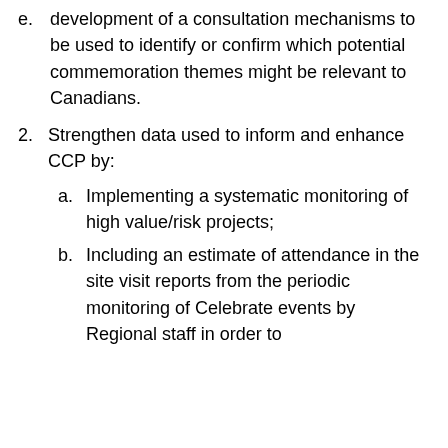e. development of a consultation mechanisms to be used to identify or confirm which potential commemoration themes might be relevant to Canadians.
2. Strengthen data used to inform and enhance CCP by:
a. Implementing a systematic monitoring of high value/risk projects;
b. Including an estimate of attendance in the site visit reports from the periodic monitoring of Celebrate events by Regional staff in order to